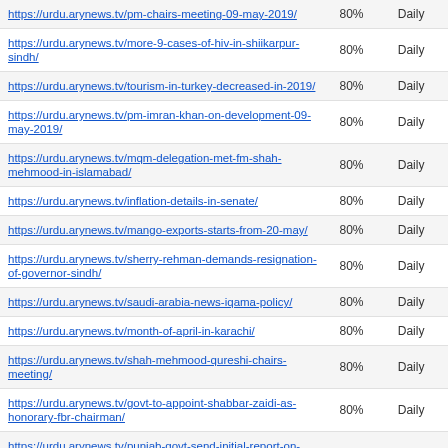| URL | Frequency | Schedule |
| --- | --- | --- |
| https://urdu.arynews.tv/pm-chairs-meeting-09-may-2019/ | 80% | Daily |
| https://urdu.arynews.tv/more-9-cases-of-hiv-in-shiikarpur-sindh/ | 80% | Daily |
| https://urdu.arynews.tv/tourism-in-turkey-decreased-in-2019/ | 80% | Daily |
| https://urdu.arynews.tv/pm-imran-khan-on-development-09-may-2019/ | 80% | Daily |
| https://urdu.arynews.tv/mqm-delegation-met-fm-shah-mehmood-in-islamabad/ | 80% | Daily |
| https://urdu.arynews.tv/inflation-details-in-senate/ | 80% | Daily |
| https://urdu.arynews.tv/mango-exports-starts-from-20-may/ | 80% | Daily |
| https://urdu.arynews.tv/sherry-rehman-demands-resignation-of-governor-sindh/ | 80% | Daily |
| https://urdu.arynews.tv/saudi-arabia-news-iqama-policy/ | 80% | Daily |
| https://urdu.arynews.tv/month-of-april-in-karachi/ | 80% | Daily |
| https://urdu.arynews.tv/shah-mehmood-qureshi-chairs-meeting/ | 80% | Daily |
| https://urdu.arynews.tv/govt-to-appoint-shabbar-zaidi-as-honorary-fbr-chairman/ | 80% | Daily |
| https://urdu.arynews.tv/punjab-govt-send-initial-report-on-data-darbar-blast-to-pm-imran/ | 80% | Daily |